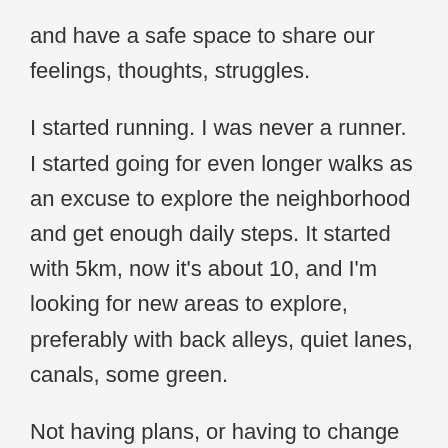and have a safe space to share our feelings, thoughts, struggles.
I started running. I was never a runner. I started going for even longer walks as an excuse to explore the neighborhood and get enough daily steps. It started with 5km, now it's about 10, and I'm looking for new areas to explore, preferably with back alleys, quiet lanes, canals, some green.
Not having plans, or having to change them on the go, was never a problem to me before, and I keep reminding myself that it shouldn't be now. I was so happy with the pinches of certainty from having a new job and a steady income, that I forgot how happy I was with the uncertainties of my life before